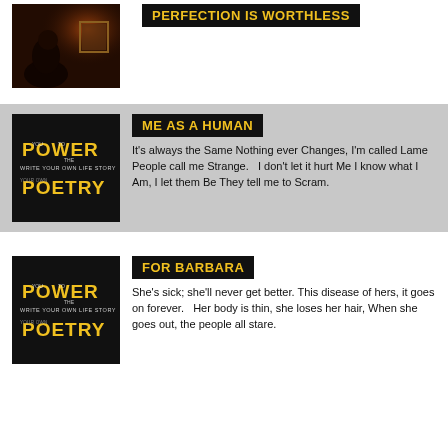[Figure (photo): Dark photograph of a person in low light near a framed picture on a wall]
PERFECTION IS WORTHLESS
[Figure (logo): Power Poetry - Write Your Own Life Story logo on black background with yellow and white text]
ME AS A HUMAN
It's always the Same Nothing ever Changes, I'm called Lame People call me Strange.  I don't let it hurt Me I know what I Am, I let them Be They tell me to Scram.
[Figure (logo): Power Poetry - Write Your Own Life Story logo on black background with yellow and white text]
FOR BARBARA
She's sick; she'll never get better. This disease of hers, it goes on forever.  Her body is thin, she loses her hair, When she goes out, the people all stare.